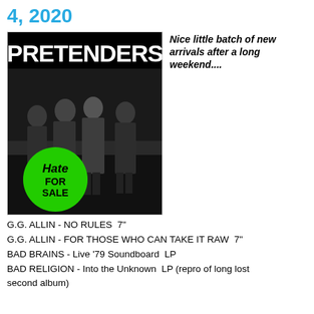4, 2020
[Figure (photo): Pretenders album cover 'Hate for Sale' — four band members standing on a street in black and white photo, with green circle badge reading 'Hate FOR SALE' in lower left]
Nice little batch of new arrivals after a long weekend....
G.G. ALLIN - NO RULES  7"
G.G. ALLIN - FOR THOSE WHO CAN TAKE IT RAW  7"
BAD BRAINS - Live '79 Soundboard  LP
BAD RELIGION - Into the Unknown  LP (repro of long lost second album)